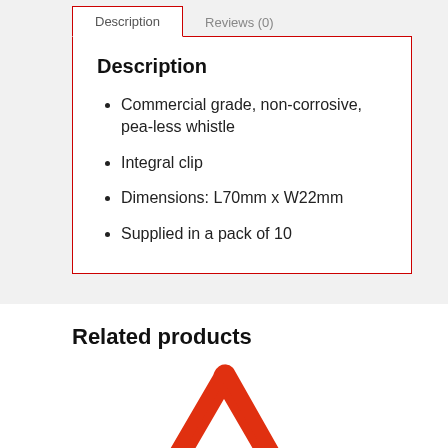Description
Commercial grade, non-corrosive, pea-less whistle
Integral clip
Dimensions: L70mm x W22mm
Supplied in a pack of 10
Related products
[Figure (photo): Red triangular safety/hazard marker, showing the top arch of the triangle in red against a white background]